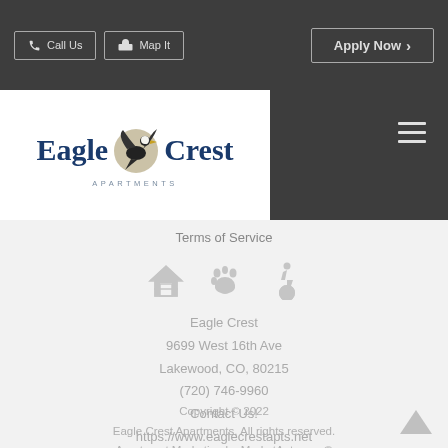Call Us  Map It  Apply Now >
[Figure (logo): Eagle Crest Apartments logo with eagle bird graphic between 'Eagle' and 'Crest' text in dark blue, with 'APARTMENTS' in small spaced letters below]
Terms of Service
[Figure (infographic): Three icons: equal housing opportunity house icon, paw print icon, wheelchair accessibility icon]
Eagle Crest
9699 West 16th Ave
Lakewood, CO, 80215
(720) 746-9960
Contact Us!
https://www.eaglecrestapts.net
Copyright © 2022
Eagle Crest Apartments. All rights reserved.
Apartment Marketing by MarketApts.com®